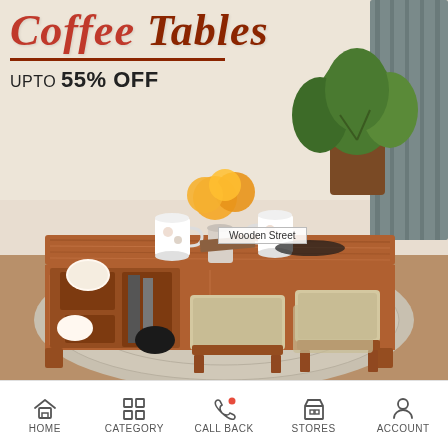[Figure (photo): A wooden coffee table with stools/ottomans pulled out from underneath, decorated with mugs, flowers, and books. Set in a living room with a plant and curtains in the background. Room has a neutral beige/cream color scheme with a patterned area rug.]
Coffee Tables
UPTO 55% OFF
Wooden Street
HOME  CATEGORY  CALL BACK  STORES  ACCOUNT